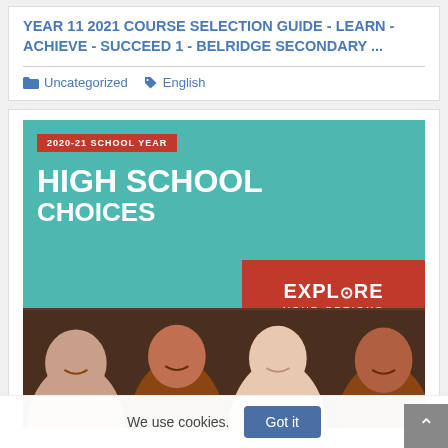YEAR 11 2021 COURSE SELECTION GUIDE - LEARN - ACHIEVE - SUCCEED 1 - BELRIDGE SECONDARY ...
Uncategorized   English
[Figure (illustration): Cover image of a publication titled 'HIGH SCHOOL CHOICES' for the 2020-21 School Year. Teal/green background with white bold text. Red banner at top reading '2020-21 SCHOOL YEAR'. Red box on right side reading 'EXPLORE YOUR OPTIONS'. Bottom half shows four smiling students of diverse backgrounds.]
We use cookies.